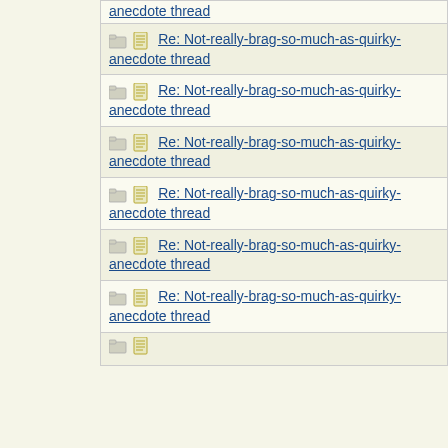| Thread | Author |
| --- | --- |
| Re: Not-really-brag-so-much-as-quirky-anecdote thread | greenlotu |
| Re: Not-really-brag-so-much-as-quirky-anecdote thread | LAF |
| Re: Not-really-brag-so-much-as-quirky-anecdote thread | LAF |
| Re: Not-really-brag-so-much-as-quirky-anecdote thread | RRD |
| Re: Not-really-brag-so-much-as-quirky-anecdote thread | George C |
| Re: Not-really-brag-so-much-as-quirky-anecdote thread | ultramari |